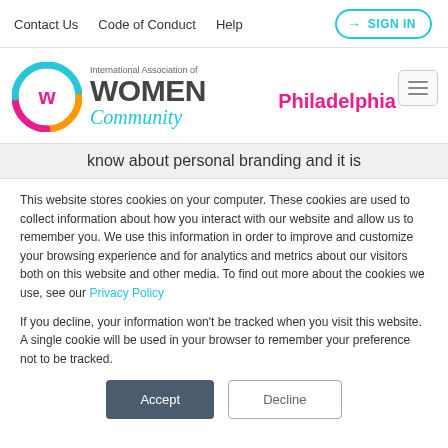Contact Us  Code of Conduct  Help  SIGN IN
[Figure (logo): International Association of Women Community logo with colorful ring and W emblem]
Philadelphia
know about personal branding and it is
This website stores cookies on your computer. These cookies are used to collect information about how you interact with our website and allow us to remember you. We use this information in order to improve and customize your browsing experience and for analytics and metrics about our visitors both on this website and other media. To find out more about the cookies we use, see our Privacy Policy
If you decline, your information won't be tracked when you visit this website. A single cookie will be used in your browser to remember your preference not to be tracked.
Accept  Decline